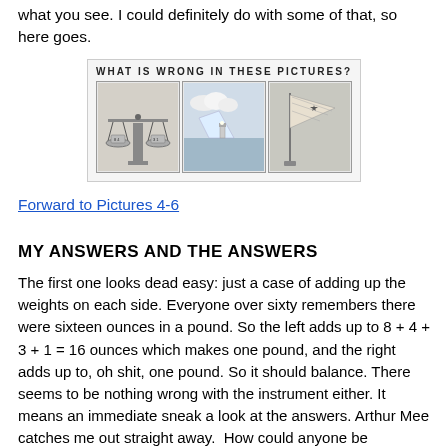what you see. I could definitely do with some of that, so here goes.
[Figure (illustration): A puzzle image titled 'WHAT IS WRONG IN THESE PICTURES?' showing three panels: a balance scale with weights, an iceberg scene with a small lighthouse, and a flag.]
Forward to Pictures 4-6
MY ANSWERS AND THE ANSWERS
The first one looks dead easy: just a case of adding up the weights on each side. Everyone over sixty remembers there were sixteen ounces in a pound. So the left adds up to 8 + 4 + 3 + 1 = 16 ounces which makes one pound, and the right adds up to, oh shit, one pound. So it should balance. There seems to be nothing wrong with the instrument either. It means an immediate sneak a look at the answers. Arthur Mee catches me out straight away.  How could anyone be